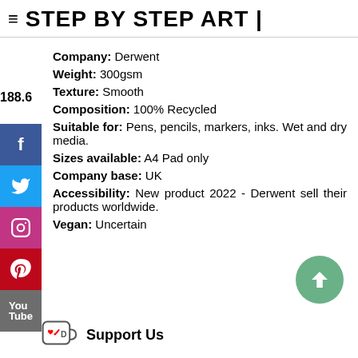≡ STEP BY STEP ART |
Company: Derwent
Weight: 300gsm
Texture: Smooth
Composition: 100% Recycled
Suitable for: Pens, pencils, markers, inks. Wet and dry media.
Sizes available: A4 Pad only
Company base: UK
Accessibility: New product 2022 - Derwent sell their products worldwide.
Vegan: Uncertain
Support Us